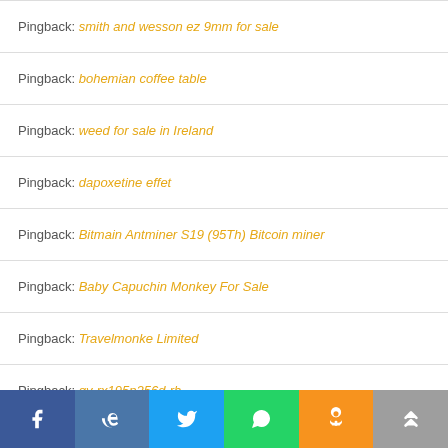Pingback: smith and wesson ez 9mm for sale
Pingback: bohemian coffee table
Pingback: weed for sale in Ireland
Pingback: dapoxetine effet
Pingback: Bitmain Antminer S19 (95Th) Bitcoin miner
Pingback: Baby Capuchin Monkey For Sale
Pingback: Travelmonke Limited
Pingback: gv-rx195p256d-rh
[Figure (infographic): Social media sharing bar with icons for Facebook, VK, Twitter, WhatsApp, Odnoklassniki, and a scroll-to-top button]